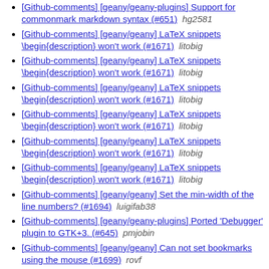[Github-comments] [geany/geany-plugins] Support for commonmark markdown syntax (#651)  hg2581
[Github-comments] [geany/geany] LaTeX snippets \begin{description} won't work (#1671)  litobig
[Github-comments] [geany/geany] LaTeX snippets \begin{description} won't work (#1671)  litobig
[Github-comments] [geany/geany] LaTeX snippets \begin{description} won't work (#1671)  litobig
[Github-comments] [geany/geany] LaTeX snippets \begin{description} won't work (#1671)  litobig
[Github-comments] [geany/geany] LaTeX snippets \begin{description} won't work (#1671)  litobig
[Github-comments] [geany/geany] LaTeX snippets \begin{description} won't work (#1671)  litobig
[Github-comments] [geany/geany] Set the min-width of the line numbers? (#1694)  luigifab38
[Github-comments] [geany/geany-plugins] Ported 'Debugger' plugin to GTK+3. (#645)  pmjobin
[Github-comments] [geany/geany] Can not set bookmarks using the mouse (#1699)  rovf
[Github-comments] [geany/geany] Can not set bookmarks using the mouse (#1699)  rovf
[Github-comments] [geany/geany] Can not set bookmarks using the mouse (#1699)  rovf
[Github-comments] [geany/geany-plugins] Geany crashes on